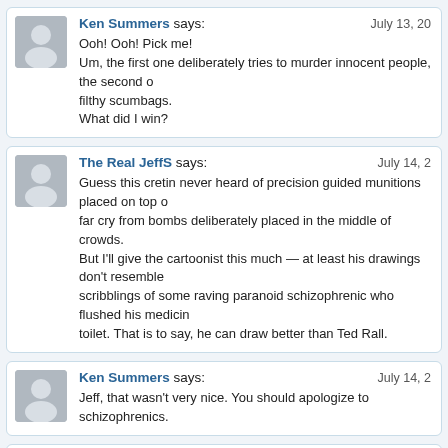Ken Summers says: July 13, 20...
Ooh! Ooh! Pick me!
Um, the first one deliberately tries to murder innocent people, the second o... filthy scumbags.
What did I win?
The Real JeffS says: July 14, 2...
Guess this cretin never heard of precision guided munitions placed on top o... far cry from bombs deliberately placed in the middle of crowds.
But I'll give the cartoonist this much — at least his drawings don't resemble... scribblings of some raving paranoid schizophrenic who flushed his medicin... toilet. That is to say, he can draw better than Ted Rall.
Ken Summers says: July 14, 2...
Jeff, that wasn't very nice. You should apologize to schizophrenics.
tree hugging sister says: July 14, 2...
Sometimes better is worse. When you look at hateful scribbles you think 'w... job anyway.' On the other hand, something this crisp in your face on the ed... days after a national tragedy is disturbing. The folks in the subway are told... that sh&t on ourselves.